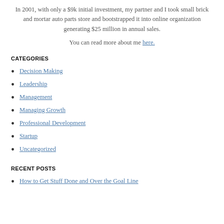In 2001, with only a $9k initial investment, my partner and I took small brick and mortar auto parts store and bootstrapped it into online organization generating $25 million in annual sales.
You can read more about me here.
CATEGORIES
Decision Making
Leadership
Management
Managing Growth
Professional Development
Startup
Uncategorized
RECENT POSTS
How to Get Stuff Done and Over the Goal Line